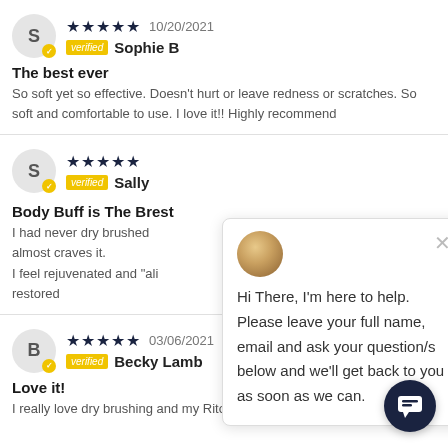S — Sophie B, 5 stars, 10/20/2021, Verified
The best ever
So soft yet so effective. Doesn't hurt or leave redness or scratches. So soft and comfortable to use. I love it!! Highly recommend
S — Sally, 5 stars, Verified
Body Buff is The Brest
I had never dry brushed almost craves it. I feel rejuvenated and "ali restored
B — Becky Lamb, 5 stars, 03/06/2021, Verified
Love it!
I really love dry brushing and my Ritology Body Brush is so
Hi There, I'm here to help. Please leave your full name, email and ask your question/s below and we'll get back to you as soon as we can.